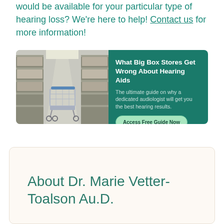would be available for your particular type of hearing loss? We're here to help! Contact us for more information!
[Figure (illustration): Promotional banner with a warehouse aisle and shopping cart image on the left, and teal background on the right with text about big box stores and hearing aids, plus a 'Access Free Guide Now' button.]
About Dr. Marie Vetter-Toalson Au.D.